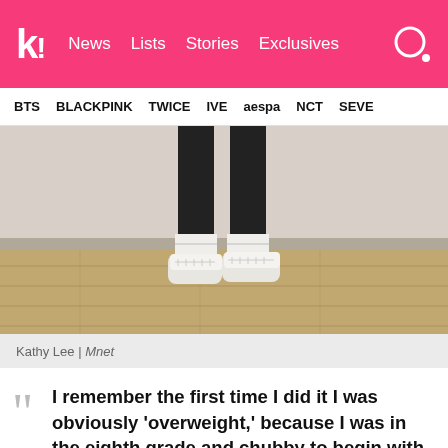k! | News | Lists | Stories | Exclusives
BTS | BLACKPINK | TWICE | IVE | aespa | NCT | SEVE
[Figure (photo): Lower legs and feet of a person wearing black leggings, white ankle socks, and white sneakers, standing on a wooden floor next to a wall.]
Kathy Lee | Mnet
I remember the first time I did it I was obviously ‘overweight,’ because I was in the eighth grade and chubby to begin with.